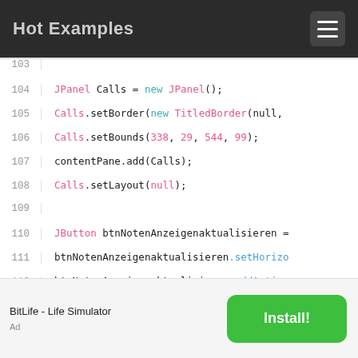Hot Examples
[Figure (screenshot): Source code viewer showing Java code lines 103-119 with syntax highlighting]
BitLife - Life Simulator   Ad   Install!